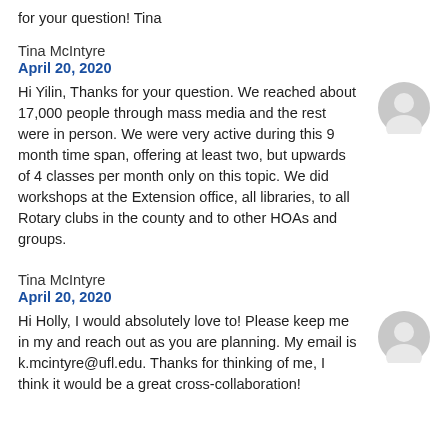for your question! Tina
Tina McIntyre
April 20, 2020
Hi Yilin, Thanks for your question. We reached about 17,000 people through mass media and the rest were in person. We were very active during this 9 month time span, offering at least two, but upwards of 4 classes per month only on this topic. We did workshops at the Extension office, all libraries, to all Rotary clubs in the county and to other HOAs and groups.
Tina McIntyre
April 20, 2020
Hi Holly, I would absolutely love to! Please keep me in my and reach out as you are planning. My email is k.mcintyre@ufl.edu. Thanks for thinking of me, I think it would be a great cross-collaboration!